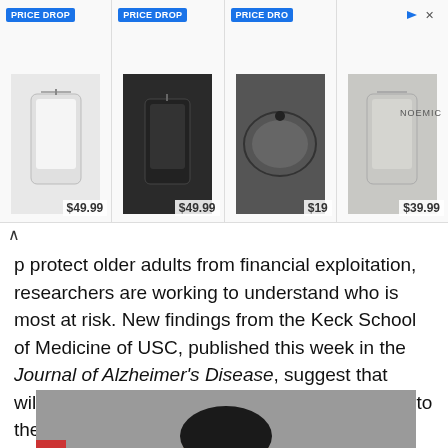[Figure (photo): Advertisement banner showing four phone case/accessory products with PRICE DROP badges and prices: $49.99, $49.99, $19 (truncated), $39.99. A NOEMIC brand label appears on the right side.]
p protect older adults from financial exploitation, researchers are working to understand who is most at risk. New findings from the Keck School of Medicine of USC, published this week in the Journal of Alzheimer's Disease, suggest that willingness to give away money could be linked to the earliest stages of Alzheimer's disease.
[Figure (photo): Photograph of a person (partially visible) against a gray background, showing the top of their head with dark hair. A red element is visible at the bottom left corner.]